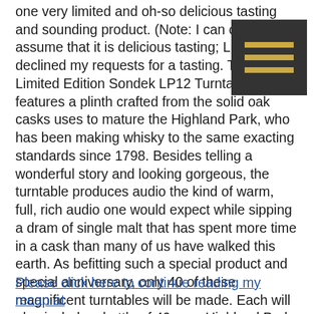one very limited and oh-so delicious tasting and sounding product. (Note: I can only assume that it is delicious tasting; Linn declined my requests for a tasting. Twice.) The Limited Edition Sondek LP12 Turntable features a plinth crafted from the solid oak casks uses to mature the Highland Park, who has been making whisky to the same exacting standards since 1798. Besides telling a wonderful story and looking gorgeous, the turntable produces audio the kind of warm, full, rich audio one would expect while sipping a dram of single malt that has spent more time in a cask than many of us have walked this earth. As befitting such a special product and special anniversary, only 40 of these magnificent turntables will be made. Each will also include a bottle of 40-year Highland Park, also limited to just 40 bottles. Also 40 is the number of thousands you will need to pick one of these beauties up.
Please click here to continue reading my recap at